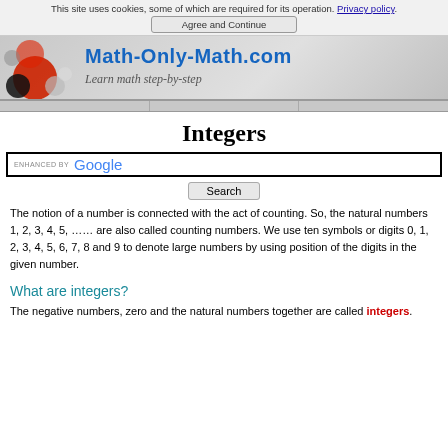This site uses cookies, some of which are required for its operation. Privacy policy. Agree and Continue
[Figure (illustration): Math-Only-Math.com banner with colorful balls on the left and site title and tagline 'Learn math step-by-step']
Integers
ENHANCED BY Google [Search bar]
The notion of a number is connected with the act of counting. So, the natural numbers 1, 2, 3, 4, 5, …… are also called counting numbers. We use ten symbols or digits 0, 1, 2, 3, 4, 5, 6, 7, 8 and 9 to denote large numbers by using position of the digits in the given number.
What are integers?
The negative numbers, zero and the natural numbers together are called integers.